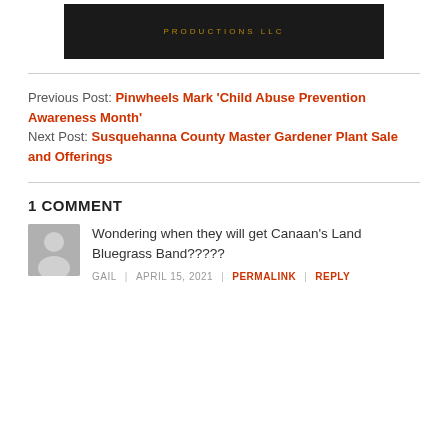[Figure (logo): Dark banner image with gold/brown text reading PRODUCTIONS LLC]
Previous Post: Pinwheels Mark 'Child Abuse Prevention Awareness Month'
Next Post: Susquehanna County Master Gardener Plant Sale and Offerings
1 COMMENT
[Figure (photo): Gray avatar silhouette of a person]
Wondering when they will get Canaan's Land Bluegrass Band?????
GAIL | APRIL 15, 2021 | PERMALINK | REPLY